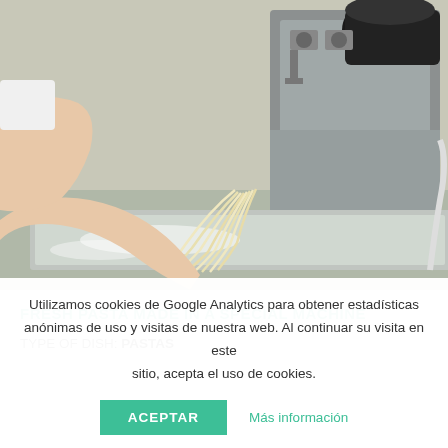[Figure (photo): A person's hands pulling fresh pasta strands from a commercial pasta-making machine. The machine is stainless steel and the pasta is being extruded through a round die. Flour dust is visible on the surface below.]
FRESH PASTA MADE IN A SPECIAL MACHINE
TYPE OF DISH: PASTAS
Utilizamos cookies de Google Analytics para obtener estadísticas anónimas de uso y visitas de nuestra web. Al continuar su visita en este sitio, acepta el uso de cookies.
ACEPTAR   Más información